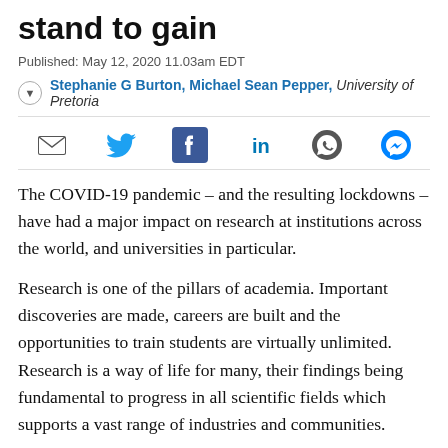stand to gain
Published: May 12, 2020 11.03am EDT
Stephanie G Burton, Michael Sean Pepper, University of Pretoria
[Figure (infographic): Social sharing icons: email, Twitter, Facebook, LinkedIn, WhatsApp, Messenger]
The COVID-19 pandemic – and the resulting lockdowns – have had a major impact on research at institutions across the world, and universities in particular.
Research is one of the pillars of academia. Important discoveries are made, careers are built and the opportunities to train students are virtually unlimited. Research is a way of life for many, their findings being fundamental to progress in all scientific fields which supports a vast range of industries and communities.